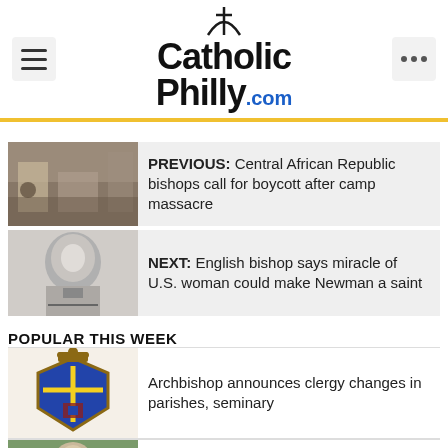CatholicPhilly.com
PREVIOUS: Central African Republic bishops call for boycott after camp massacre
NEXT: English bishop says miracle of U.S. woman could make Newman a saint
POPULAR THIS WEEK
Archbishop announces clergy changes in parishes, seminary
New Lansdale Catholic athletic director is